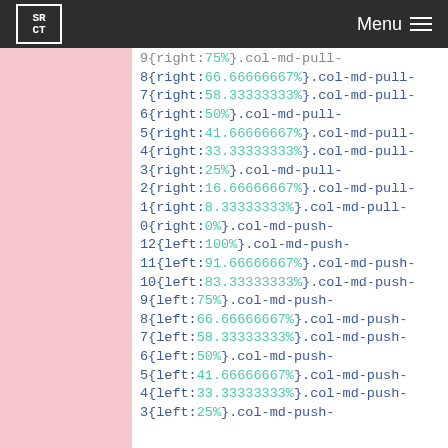SRCT Menu
9{right:75%}.col-md-pull-8{right:66.66666667%}.col-md-pull-7{right:58.33333333%}.col-md-pull-6{right:50%}.col-md-pull-5{right:41.66666667%}.col-md-pull-4{right:33.33333333%}.col-md-pull-3{right:25%}.col-md-pull-2{right:16.66666667%}.col-md-pull-1{right:8.33333333%}.col-md-pull-0{right:0%}.col-md-push-12{left:100%}.col-md-push-11{left:91.66666667%}.col-md-push-10{left:83.33333333%}.col-md-push-9{left:75%}.col-md-push-8{left:66.66666667%}.col-md-push-7{left:58.33333333%}.col-md-push-6{left:50%}.col-md-push-5{left:41.66666667%}.col-md-push-4{left:33.33333333%}.col-md-push-3{left:25%}.col-md-push-